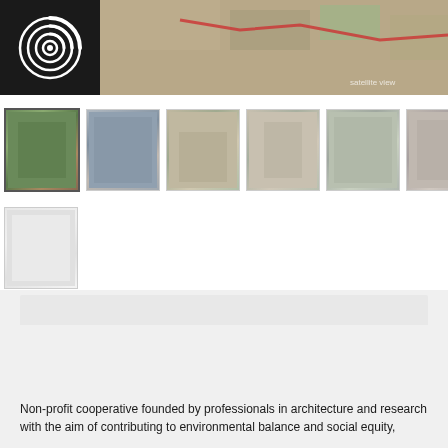[Figure (screenshot): Website screenshot showing a logo, aerial map image, and thumbnail gallery of architectural project images for Ciclica cooperative]
[Figure (logo): Ciclica logo with circular spiral icon and text 'ciclica SPACE · COMMUNITY · ECOLOGY']
Non-profit cooperative founded by professionals in architecture and research with the aim of contributing to environmental balance and social equity,